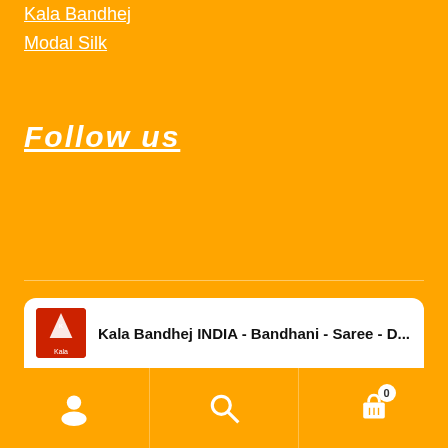Kala Bandhej
Modal Silk
Follow us
[Figure (screenshot): Kala Bandhej INDIA - Bandhani - Saree - D... Facebook page card showing logo and three product images: green saree, blue saree, gold/red fabric]
User icon | Search icon | Cart icon with badge 0